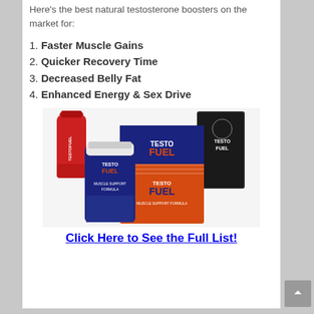Here's the best natural testosterone boosters on the market for:
1. Faster Muscle Gains
2. Quicker Recovery Time
3. Decreased Belly Fat
4. Enhanced Energy & Sex Drive
[Figure (photo): TestoFuel product lineup showing a red shaker bottle, a navy/orange box labeled TESTO FUEL, a navy pill bottle labeled TESTO FUEL, and a black supplement container]
Click Here to See the Full List!